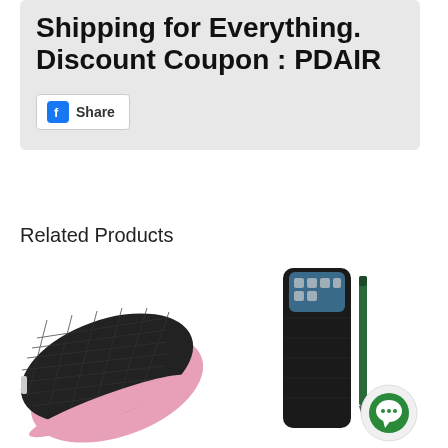Shipping for Everything. Discount Coupon : PDAIR
[Figure (other): Facebook Share button with blue Facebook icon]
Related Products
[Figure (photo): Black textured phone case with pink trim, viewed at an angle]
[Figure (photo): Black leather phone sleeve/pouch holding a smartphone, with a green stylus pen and a circular white/green button accessory]